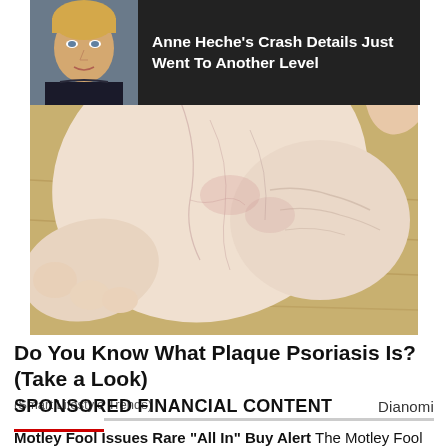[Figure (photo): Anne Heche thumbnail with dark banner overlay showing headline text: Anne Heche's Crash Details Just Went To Another Level]
[Figure (photo): Close-up photograph of a human foot/ankle showing skin condition, set against wooden floor background]
Do You Know What Plaque Psoriasis Is? (Take a Look)
(Smart Lifestyle Trends)
SPONSORED FINANCIAL CONTENT
Dianomi
Motley Fool Issues Rare "All In" Buy Alert The Motley Fool